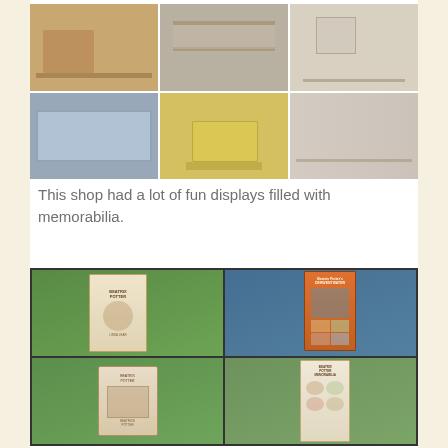[Figure (photo): A 3x2 grid of photos showing interior displays of a shop filled with memorabilia, including shelves with collectibles, miniature scenes, and store displays]
This shop had a lot of fun displays filled with memorabilia.
[Figure (photo): A 2x2 grid of photos showing Beatrix Potter books displayed outdoors against a backdrop of purple and green flowers. Books include a biography of Beatrix Potter, Beatrix Potter's Derwentwater, and other related titles.]